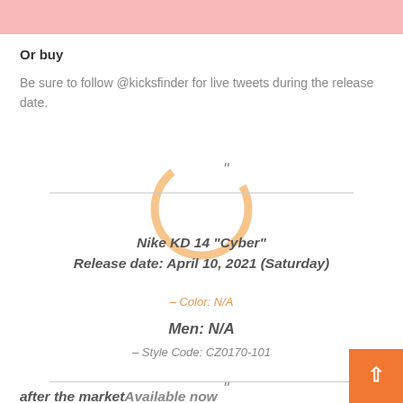[Figure (illustration): Pink header bar at top of page]
Or buy
Be sure to follow @kicksfinder for live tweets during the release date.
[Figure (illustration): Orange decorative circle ring behind quote block]
Nike KD 14 “Cyber”
Release date: April 10, 2021 (Saturday)
– Color: N/A

Men: N/A
– Style Code: CZ0170-101
after the market Available now